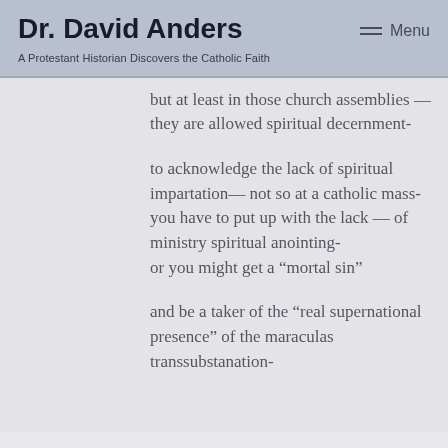Dr. David Anders
A Protestant Historian Discovers the Catholic Faith
Menu
but at least in those church assemblies — they are allowed spiritual decernment-

to acknowledge the lack of spiritual impartation— not so at a catholic mass-
you have to put up with the lack — of ministry spiritual anointing-
or you might get a “mortal sin”

and be a taker of the “real supernational presence” of the maraculas transsubstanation-